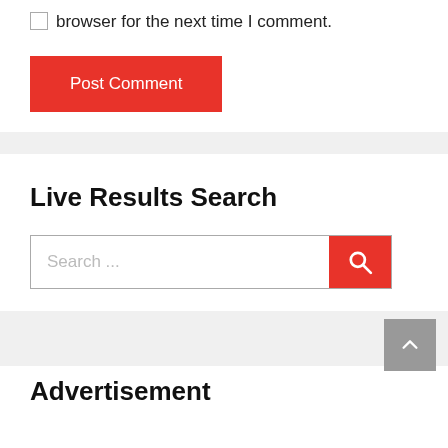browser for the next time I comment.
Post Comment
Live Results Search
Search ...
Advertisement